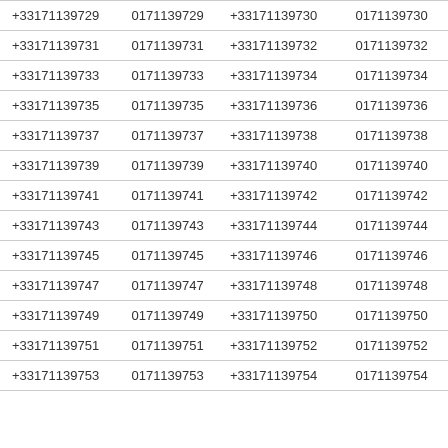| +33171139729 | 0171139729 | +33171139730 | 0171139730 |
| +33171139731 | 0171139731 | +33171139732 | 0171139732 |
| +33171139733 | 0171139733 | +33171139734 | 0171139734 |
| +33171139735 | 0171139735 | +33171139736 | 0171139736 |
| +33171139737 | 0171139737 | +33171139738 | 0171139738 |
| +33171139739 | 0171139739 | +33171139740 | 0171139740 |
| +33171139741 | 0171139741 | +33171139742 | 0171139742 |
| +33171139743 | 0171139743 | +33171139744 | 0171139744 |
| +33171139745 | 0171139745 | +33171139746 | 0171139746 |
| +33171139747 | 0171139747 | +33171139748 | 0171139748 |
| +33171139749 | 0171139749 | +33171139750 | 0171139750 |
| +33171139751 | 0171139751 | +33171139752 | 0171139752 |
| +33171139753 | 0171139753 | +33171139754 | 0171139754 |